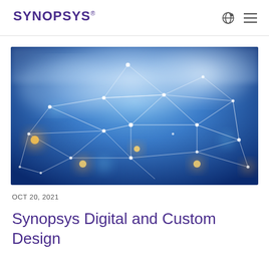SYNOPSYS
[Figure (photo): Abstract digital network connectivity visualization with blue background, white geometric wireframe lines connecting glowing nodes, and bokeh light orbs in warm white and golden colors]
OCT 20, 2021
Synopsys Digital and Custom Design